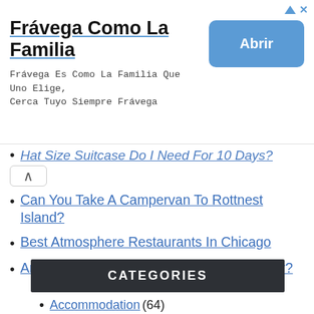[Figure (other): Advertisement banner for Frávega Como La Familia with title, subtitle text, and blue Abrir button]
Hat Size Suitcase Do I Need For 10 Days?
Can You Take A Campervan To Rottnest Island?
Best Atmosphere Restaurants In Chicago
Are Gold Coast Theme Parks Open All Year?
CATEGORIES
Accommodation (64)
Camping (29)
Fishing (45)
Food (6)